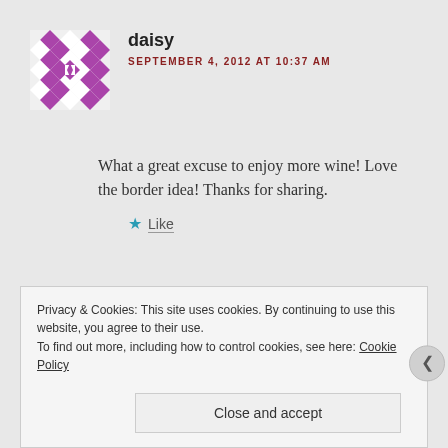[Figure (illustration): Purple and white geometric quilt-pattern avatar icon for user 'daisy']
daisy
SEPTEMBER 4, 2012 AT 10:37 AM
What a great excuse to enjoy more wine! Love the border idea! Thanks for sharing.
Like
Privacy & Cookies: This site uses cookies. By continuing to use this website, you agree to their use.
To find out more, including how to control cookies, see here: Cookie Policy
Close and accept